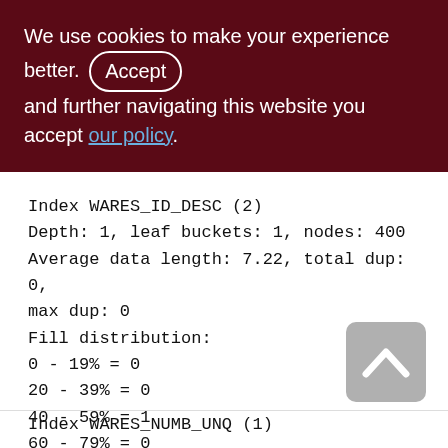We use cookies to make your experience better. By accepting and further navigating this website you accept our policy.
Index WARES_ID_DESC (2)
Depth: 1, leaf buckets: 1, nodes: 400
Average data length: 7.22, total dup: 0, max dup: 0
Fill distribution:
0 - 19% = 0
20 - 39% = 0
40 - 59% = 1
60 - 79% = 0
80 - 99% = 0
Index WARES_NUMB_UNQ (1)